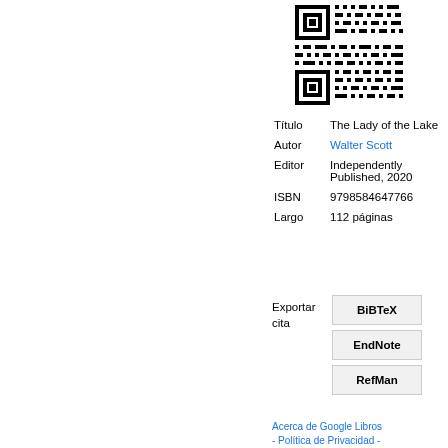[Figure (other): QR code for the book The Lady of the Lake]
| Título | The Lady of the Lake |
| Autor | Walter Scott |
| Editor | Independently Published, 2020 |
| ISBN | 9798584647766 |
| Largo | 112 páginas |
Exportar cita
BiBTeX
EndNote
RefMan
Acerca de Google Libros - Política de Privacidad -